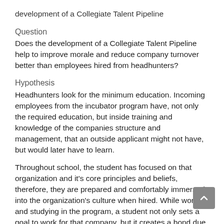development of a Collegiate Talent Pipeline
Question
Does the development of a Collegiate Talent Pipeline help to improve morale and reduce company turnover better than employees hired from headhunters?
Hypothesis
Headhunters look for the minimum education. Incoming employees from the incubator program have, not only the required education, but inside training and knowledge of the companies structure and management, that an outside applicant might not have, but would later have to learn.
Throughout school, the student has focused on that organization and it’s core principles and beliefs, therefore, they are prepared and comfortably immersed into the organization’s culture when hired. While working and studying in the program, a student not only sets a goal to work for that company, but it creates a bond due to the